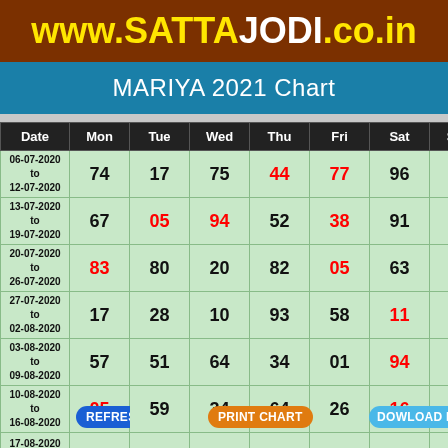www.SATTAJODI.co.in
MARIYA 2021 Chart
| Date | Mon | Tue | Wed | Thu | Fri | Sat | Sun |
| --- | --- | --- | --- | --- | --- | --- | --- |
| 06-07-2020 to 12-07-2020 | 74 | 17 | 75 | 44 | 77 | 96 | 52 |
| 13-07-2020 to 19-07-2020 | 67 | 05 | 94 | 52 | 38 | 91 | 57 |
| 20-07-2020 to 26-07-2020 | 83 | 80 | 20 | 82 | 05 | 63 | 26 |
| 27-07-2020 to 02-08-2020 | 17 | 28 | 10 | 93 | 58 | 11 | 94 |
| 03-08-2020 to 09-08-2020 | 57 | 51 | 64 | 34 | 01 | 94 | 45 |
| 10-08-2020 to 16-08-2020 | 05 | 59 | 34 | 64 | 26 | 16 | 68 |
| 17-08-2020 |  |  |  |  |  |  |  |